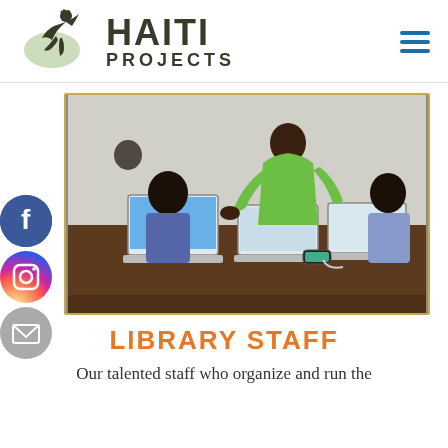[Figure (logo): Haiti Projects logo with jumping figure silhouette and stylized text 'HAITI PROJECTS']
[Figure (photo): A man in a bright green shirt leaning over a table helping students working on laptops in a library setting]
LIBRARY STAFF
Our talented staff who organize and run the